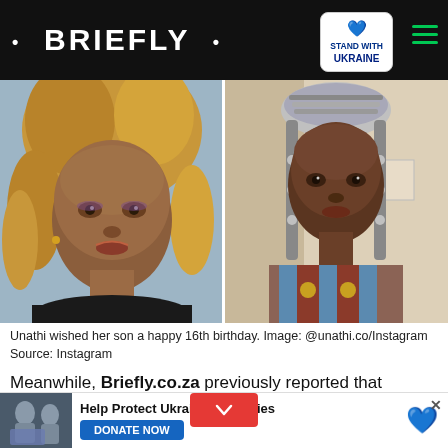• BRIEFLY •
[Figure (photo): Two photos side by side: left shows a woman with curly blonde-highlighted locs wearing a black off-shoulder top; right shows a woman wearing a beaded headpiece and colorful patterned strapless top]
Unathi wished her son a happy 16th birthday. Image: @unathi.co/Instagram
Source: Instagram
Meanwhile, Briefly.co.za previously reported that Somizi, like the rest of the country, is loving Gee Six Five. The media personality took to Instagram to jam to the 65-year-old's hit